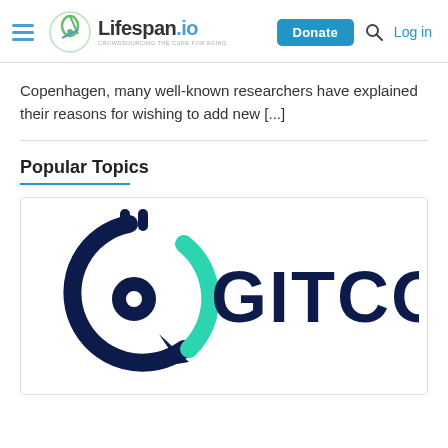Lifespan.io — Donate | Log in
Copenhagen, many well-known researchers have explained their reasons for wishing to add new [...]
Popular Topics
[Figure (logo): Gitcoin logo: dark navy circle-based icon with a teal arc, alongside the word GITCOIN in bold dark navy uppercase letters]